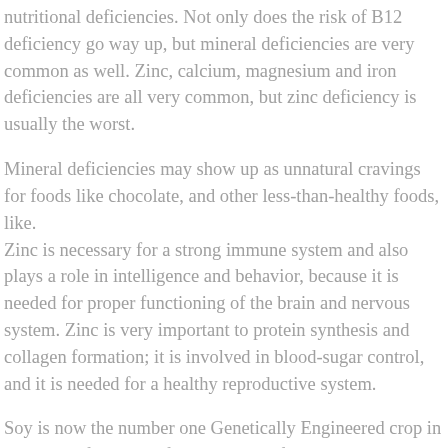nutritional deficiencies. Not only does the risk of B12 deficiency go way up, but mineral deficiencies are very common as well. Zinc, calcium, magnesium and iron deficiencies are all very common, but zinc deficiency is usually the worst.
Mineral deficiencies may show up as unnatural cravings for foods like chocolate, and other less-than-healthy foods, like. Zinc is necessary for a strong immune system and also plays a role in intelligence and behavior, because it is needed for proper functioning of the brain and nervous system. Zinc is very important to protein synthesis and collagen formation; it is involved in blood-sugar control, and it is needed for a healthy reproductive system.
Soy is now the number one Genetically Engineered crop in the US. In fact 90% of the soy in the food supply is genetically modified